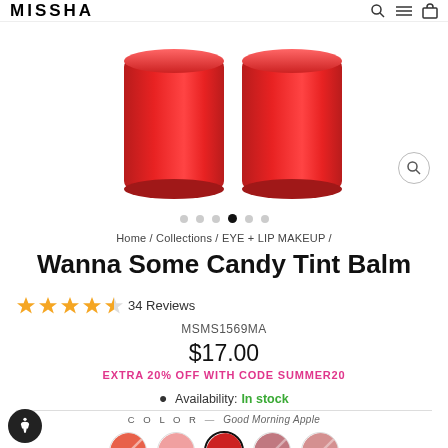MISSHA
[Figure (photo): Two red cylindrical lip balm/tint products shown side by side on white background]
Navigation dots: 6 dots, 4th active
Home / Collections / EYE + LIP MAKEUP /
Wanna Some Candy Tint Balm
★★★★☆ 34 Reviews
MSMS1569MA
$17.00
EXTRA 20% OFF WITH CODE SUMMER20
Availability: In stock
COLOR — Good Morning Apple
[Figure (illustration): Five circular color swatches: coral/orange diagonal, light pink, red/selected (with border), mauve/diagonal, dusty rose/diagonal]